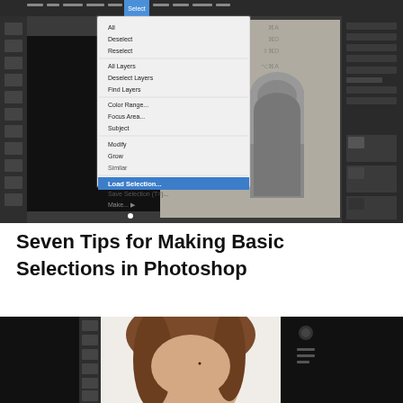[Figure (screenshot): Adobe Photoshop CC interface showing a dropdown menu (Select menu open) with 'Load Selection...' highlighted in blue. The canvas shows a grayscale image of a stone wall with an arched niche. The right side shows panels including Layers panel.]
Seven Tips for Making Basic Selections in Photoshop
[Figure (screenshot): Adobe Photoshop CC interface showing a close-up photo of a woman's face with brown hair on a white background, with the Photoshop toolbar visible on the left and a black panel on the right.]